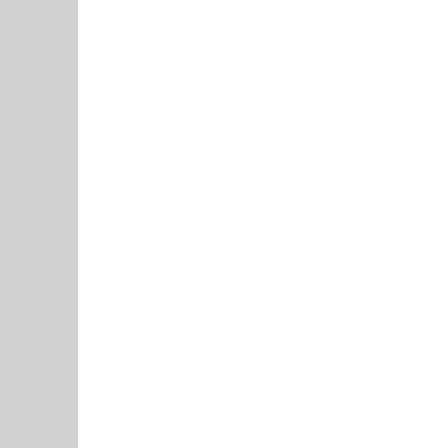Sam duPont's blog   Login to post comments
Why is Lou Dobbs on CNN tonight?
Submitted by Simon Rosenberg on 2/12/08
2008   CNN   Globalization   Hispanic / Latino   Immigration   Loud Do...
Does CNN realize that Lou Dobbs is an offensive figure to many people? Th... ideologue who toyed with running for President? That for those of us who h... community he is seen as an angry racist? And that he is in essence the ant... America and thus not suited to be a commentator on the what is happenin...